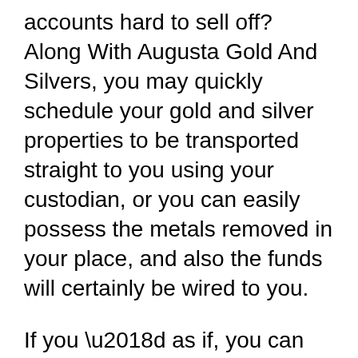accounts hard to sell off? Along With Augusta Gold And Silvers, you may quickly schedule your gold and silver properties to be transported straight to you using your custodian, or you can easily possess the metals removed in your place, and also the funds will certainly be wired to you.
If you ‘d as if, you can easily also help make setups to select all of them up from the storage space center.
Be actually recommended, when making early drawbacks from your gold Individual retirement account, just like taking early withdrawals coming from any type of IRA, tax charges do administer.